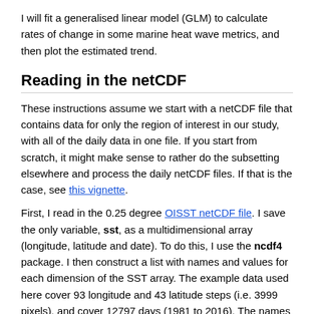I will fit a generalised linear model (GLM) to calculate rates of change in some marine heat wave metrics, and then plot the estimated trend.
Reading in the netCDF
These instructions assume we start with a netCDF file that contains data for only the region of interest in our study, with all of the daily data in one file. If you start from scratch, it might make sense to rather do the subsetting elsewhere and process the daily netCDF files. If that is the case, see this vignette.
First, I read in the 0.25 degree OISST netCDF file. I save the only variable, sst, as a multidimensional array (longitude, latitude and date). To do this, I use the ncdf4 package. I then construct a list with names and values for each dimension of the SST array. The example data used here cover 93 longitude and 43 latitude steps (i.e. 3999 pixels), and cover 12797 days (1981 to 2016). The names for the three dimensions are simply a list of longitudes, latitudes and dates, which I get directly from the netCDF file. Note that not all netCDF files are created equally, and sometimes vectors of longitudes, latitudes and dates need to be created based on the start values for